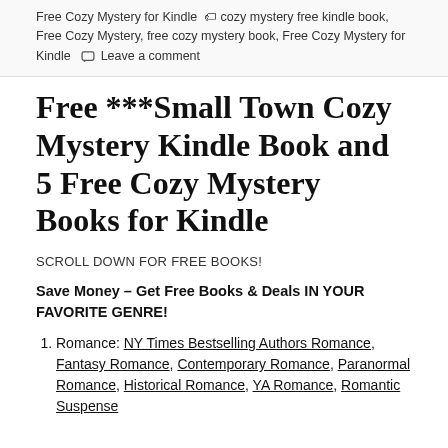Free Cozy Mystery for Kindle, free cozy mystery book, Free Cozy Mystery, free cozy mystery book, Free Cozy Mystery for Kindle   Leave a comment
Free ***Small Town Cozy Mystery Kindle Book and 5 Free Cozy Mystery Books for Kindle
SCROLL DOWN FOR FREE BOOKS!
Save Money – Get Free Books & Deals IN YOUR FAVORITE GENRE!
Romance: NY Times Bestselling Authors Romance, Fantasy Romance, Contemporary Romance, Paranormal Romance, Historical Romance, YA Romance, Romantic Suspense